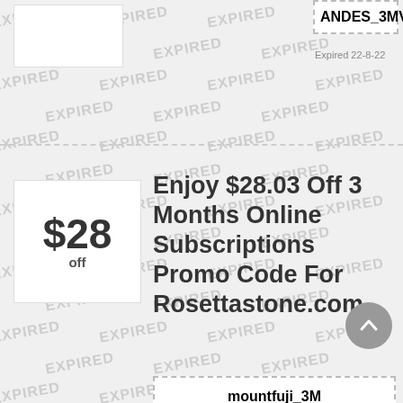ANDES_3MV2
Expired 22-8-22
Enjoy $28.03 Off 3 Months Online Subscriptions Promo Code For Rosettastone.com
$28 off
mountfuji_3M
Expired 22-8-22
Up To 40% On Learn A New Language At Rosetta Stone
40%